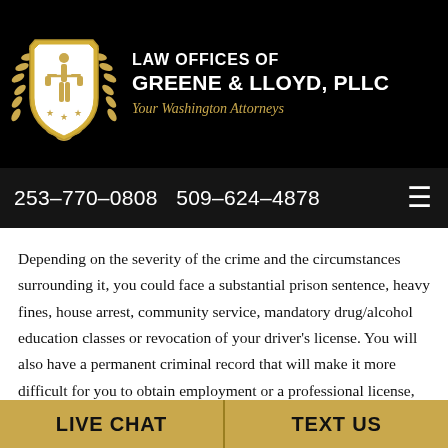[Figure (logo): Law Offices of Greene & Lloyd, PLLC logo with gold shield, justice figure, laurel wreath, and firm name on black background]
253-770-0808   509-624-4878
Depending on the severity of the crime and the circumstances surrounding it, you could face a substantial prison sentence, heavy fines, house arrest, community service, mandatory drug/alcohol education classes or revocation of your driver’s license. You will also have a permanent criminal record that will make it more difficult for you to obtain employment or a professional license, apply for loans or credit cards or rent a home or
LIVE CHAT   TEXT US